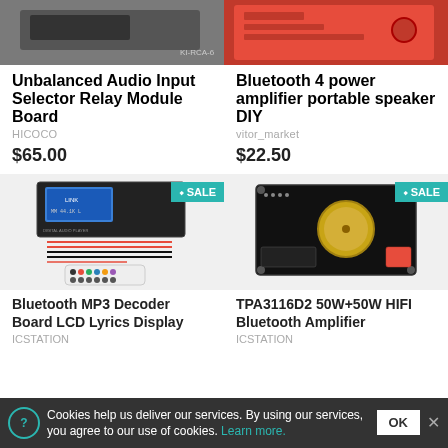[Figure (photo): Unbalanced Audio Input Selector Relay Module Board product photo (dark background)]
[Figure (photo): Bluetooth 4 power amplifier portable speaker DIY product photo (red circuit board)]
Unbalanced Audio Input Selector Relay Module Board
HICOCO
$65.00
Bluetooth 4 power amplifier portable speaker DIY
vitor_market
$22.50
[Figure (photo): Bluetooth MP3 Decoder Board LCD Lyrics Display product photo with remote, SALE badge]
[Figure (photo): TPA3116D2 50W+50W HIFI Bluetooth Amplifier product photo, SALE badge]
Bluetooth MP3 Decoder Board LCD Lyrics Display
ICStation
TPA3116D2 50W+50W HIFI Bluetooth Amplifier
ICStation
Cookies help us deliver our services. By using our services, you agree to our use of cookies. Learn more.